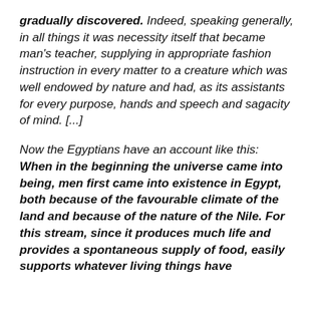gradually discovered. Indeed, speaking generally, in all things it was necessity itself that became man's teacher, supplying in appropriate fashion instruction in every matter to a creature which was well endowed by nature and had, as its assistants for every purpose, hands and speech and sagacity of mind. [...]
Now the Egyptians have an account like this: When in the beginning the universe came into being, men first came into existence in Egypt, both because of the favourable climate of the land and because of the nature of the Nile. For this stream, since it produces much life and provides a spontaneous supply of food, easily supports whatever living things have